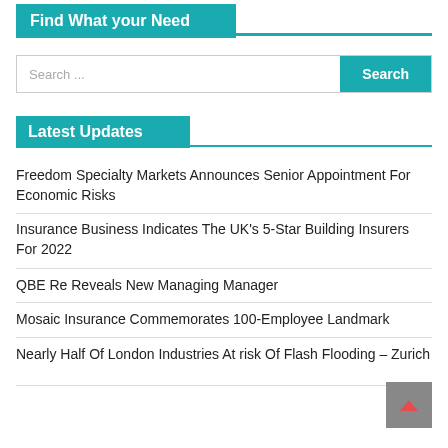Find What your Need
Search ...
Latest Updates
Freedom Specialty Markets Announces Senior Appointment For Economic Risks
Insurance Business Indicates The UK's 5-Star Building Insurers For 2022
QBE Re Reveals New Managing Manager
Mosaic Insurance Commemorates 100-Employee Landmark
Nearly Half Of London Industries At risk Of Flash Flooding – Zurich